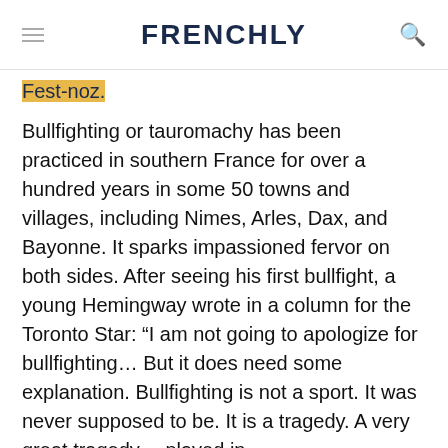FRENCHLY
Fest-noz.
Bullfighting or tauromachy has been practiced in southern France for over a hundred years in some 50 towns and villages, including Nimes, Arles, Dax, and Bayonne. It sparks impassioned fervor on both sides. After seeing his first bullfight, a young Hemingway wrote in a column for the Toronto Star: “I am not going to apologize for bullfighting… But it does need some explanation. Bullfighting is not a sport. It was never supposed to be. It is a tragedy. A very great tragedy… played in